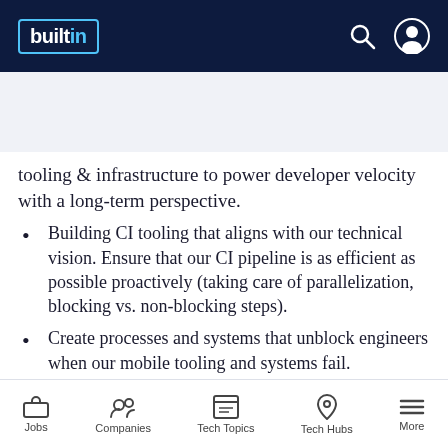builtin
APPLY NOW   ☆ SAVE
tooling & infrastructure to power developer velocity with a long-term perspective.
Building CI tooling that aligns with our technical vision. Ensure that our CI pipeline is as efficient as possible proactively (taking care of parallelization, blocking vs. non-blocking steps).
Create processes and systems that unblock engineers when our mobile tooling and systems fail.
Defining CI uptime and green-time (and
Jobs   Companies   Tech Topics   Tech Hubs   More